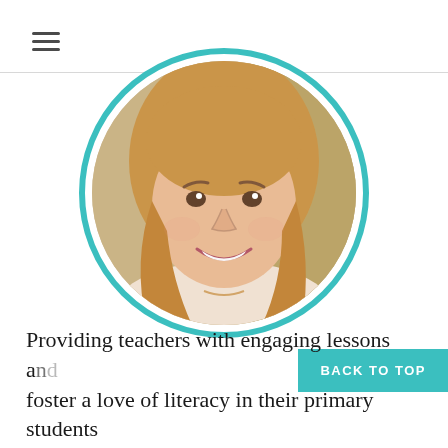[Figure (other): Hamburger menu icon with three horizontal lines in top-left corner]
[Figure (photo): Circular profile photo of a young woman with long blonde hair, smiling, framed by a teal/turquoise double circle border]
BACK TO TOP
Providing teachers with engaging lessons and foster a love of literacy in their primary students